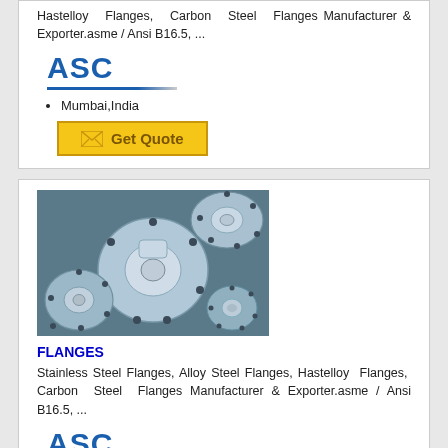Hastelloy Flanges, Carbon Steel Flanges Manufacturer & Exporter.asme / Ansi B16.5, ...
[Figure (logo): ASC company logo in blue bold text with underline]
Mumbai,India
[Figure (other): Get Quote button in gold/yellow color with envelope icon]
[Figure (photo): Photo of various industrial steel flanges, multiple sizes, blue and silver metallic finish]
FLANGES
Stainless Steel Flanges, Alloy Steel Flanges, Hastelloy Flanges, Carbon Steel Flanges Manufacturer & Exporter.asme / Ansi B16.5, ...
[Figure (logo): ASC company logo in blue bold text with underline]
Mumbai,India